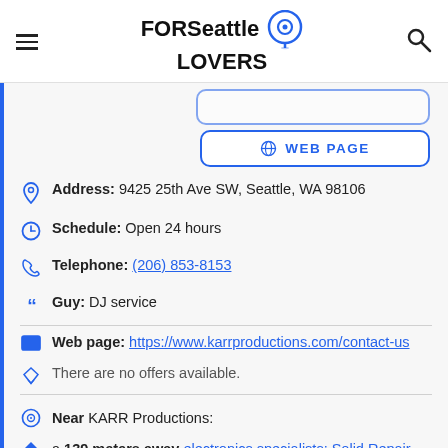FOR Seattle LOVERS [logo with location pin icon] [hamburger menu] [search icon]
WEB PAGE
Address: 9425 25th Ave SW, Seattle, WA 98106
Schedule: Open 24 hours
Telephone: (206) 853-8153
Guy: DJ service
Web page: https://www.karrproductions.com/contact-us
There are no offers available.
Near KARR Productions:
a 139 meters away electronics specialists: Solid Repair
a 143 meters away citric acid stores: Safeway